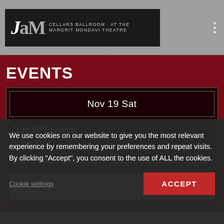JaM Cellars Ballroom · At the Margrit Mondavi Theatre
EVENTS
| Date | Event | Time | Venue |
| --- | --- | --- | --- |
| Nov 19 Sat | Dar Williams | 8:00 PM | JaM Cellars Ballroom at Margrit Mondavi Theatre |
BUY TICKETS
We use cookies on our website to give you the most relevant experience by remembering your preferences and repeat visits. By clicking "Accept", you consent to the use of ALL the cookies.
ACCEPT